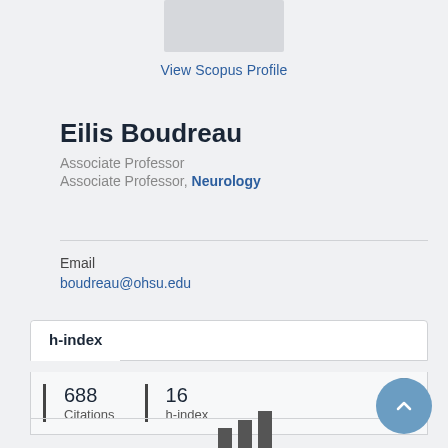[Figure (photo): Profile photo placeholder (gray rectangle)]
View Scopus Profile
Eilis Boudreau
Associate Professor
Associate Professor, Neurology
Email
boudreau@ohsu.edu
h-index
688 Citations   16 h-index